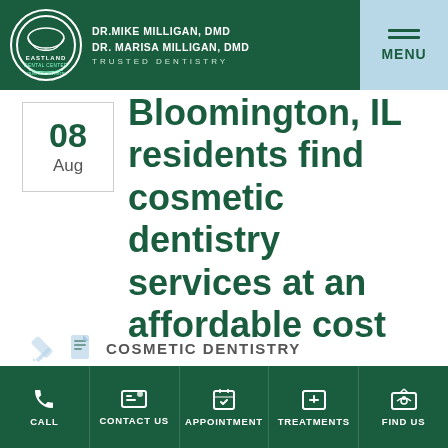DR.MIKE MILLIGAN, DMD | DR. MARISA MILLIGAN, DMD | TRUSTED DENTISTRY
Bloomington, IL residents find cosmetic dentistry services at an affordable cost
08 Aug
COSMETIC DENTISTRY
CALL | CONTACT US | APPOINTMENT | TREATMENTS | FIND US